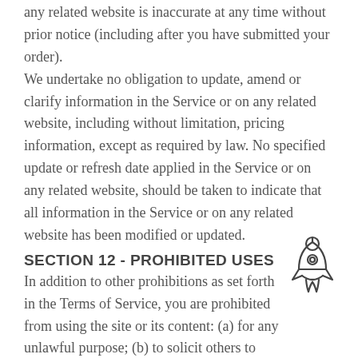any related website is inaccurate at any time without prior notice (including after you have submitted your order). We undertake no obligation to update, amend or clarify information in the Service or on any related website, including without limitation, pricing information, except as required by law. No specified update or refresh date applied in the Service or on any related website, should be taken to indicate that all information in the Service or on any related website has been modified or updated.
SECTION 12 - PROHIBITED USES
In addition to other prohibitions as set forth in the Terms of Service, you are prohibited from using the site or its content: (a) for any unlawful purpose; (b) to solicit others to perform or participate in any unlawful acts; (c) to violate any international, federal, provincial or state regulations, rules, laws, or
[Figure (illustration): A rocket ship icon illustration in outline style]